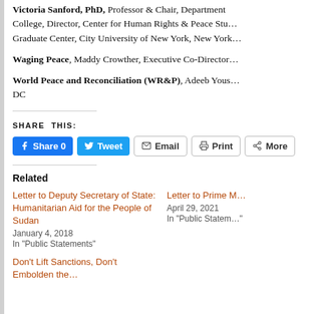Victoria Sanford, PhD, Professor & Chair, Department… College, Director, Center for Human Rights & Peace Stu… Graduate Center, City University of New York, New York…
Waging Peace, Maddy Crowther, Executive Co-Director…
World Peace and Reconciliation (WR&P), Adeeb Yous… DC
SHARE THIS:
[Figure (other): Social sharing buttons: Facebook Share 0, Tweet, Email, Print, More]
Related
Letter to Deputy Secretary of State: Humanitarian Aid for the People of Sudan
January 4, 2018
In "Public Statements"
Letter to Prime M…
April 29, 2021
In "Public Statem…"
Don't Lift Sanctions, Don't Embolden the…